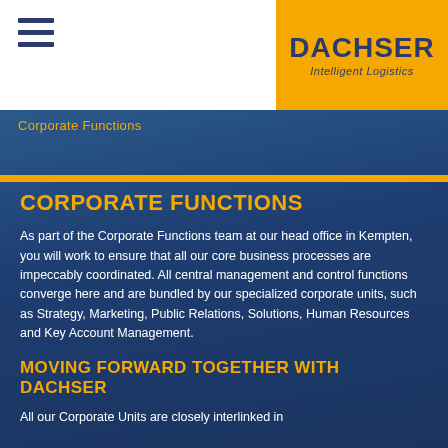DACHSER Intelligent Logistics
Corporate Functions
CORPORATE FUNCTIONS
As part of the Corporate Functions team at our head office in Kempten, you will work to ensure that all our core business processes are impeccably coordinated. All central management and control functions converge here and are bundled by our specialized corporate units, such as Strategy, Marketing, Public Relations, Solutions, Human Resources and Key Account Management.
MOVING FORWARD TOGETHER WITH DACHSER
All our Corporate Units are closely interlinked in